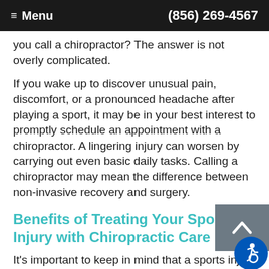≡ Menu   (856) 269-4567
you call a chiropractor? The answer is not overly complicated.
If you wake up to discover unusual pain, discomfort, or a pronounced headache after playing a sport, it may be in your best interest to promptly schedule an appointment with a chiropractor. A lingering injury can worsen by carrying out even basic daily tasks. Calling a chiropractor may mean the difference between non-invasive recovery and surgery.
Benefits of Treating Your Sports Injury with Chiropractic Care
It's important to keep in mind that a sports injury is not limited to people who engage in competition. Weight training, bicycling, or taking a fitness class result in a sports injury. All it takes is more exertion